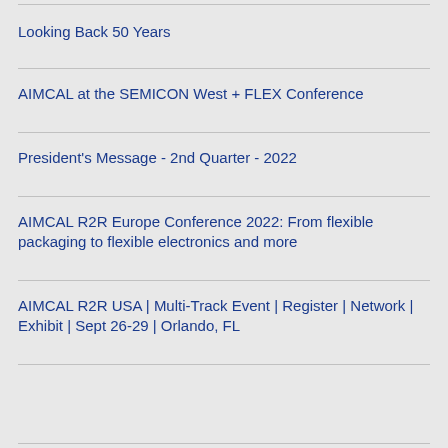Looking Back 50 Years
AIMCAL at the SEMICON West + FLEX Conference
President's Message - 2nd Quarter - 2022
AIMCAL R2R Europe Conference 2022: From flexible packaging to flexible electronics and more
AIMCAL R2R USA | Multi-Track Event | Register | Network | Exhibit | Sept 26-29 | Orlando, FL